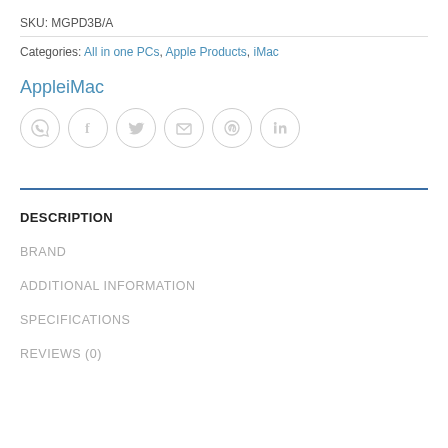SKU: MGPD3B/A
Categories: All in one PCs, Apple Products, iMac
AppleiMac
[Figure (infographic): Row of six circular social media / sharing icon buttons: WhatsApp, Facebook, Twitter, Email, Pinterest, LinkedIn]
DESCRIPTION
BRAND
ADDITIONAL INFORMATION
SPECIFICATIONS
REVIEWS (0)